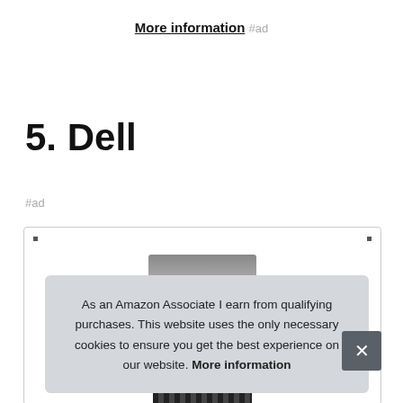More information #ad
5. Dell
#ad
[Figure (photo): Product image of Dell computer/server equipment inside a bordered box]
As an Amazon Associate I earn from qualifying purchases. This website uses the only necessary cookies to ensure you get the best experience on our website. More information